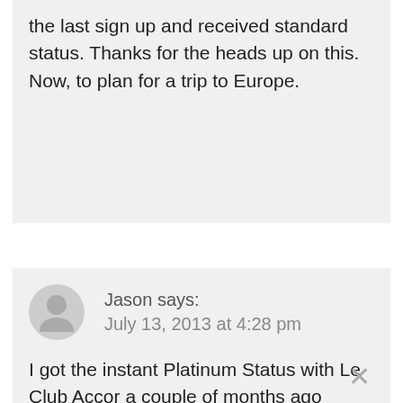the last sign up and received standard status. Thanks for the heads up on this. Now, to plan for a trip to Europe.
Jason says: July 13, 2013 at 4:28 pm
I got the instant Platinum Status with Le Club Accor a couple of months ago (thanks for that), but I'm having trouble getting Priority Club to match it. They won't accept a screen shot of my log on page showing my status, and I don't know what to give them beyond that.